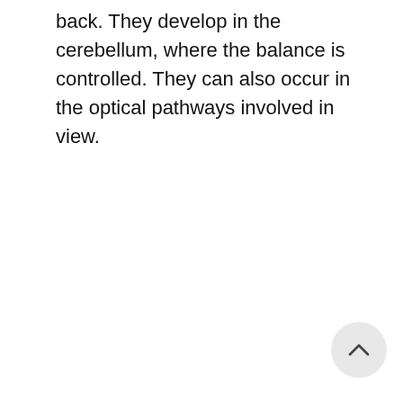back. They develop in the cerebellum, where the balance is controlled. They can also occur in the optical pathways involved in view.
[Figure (other): A circular scroll-to-top button with an upward-pointing chevron arrow, positioned in the bottom-right corner of the page.]